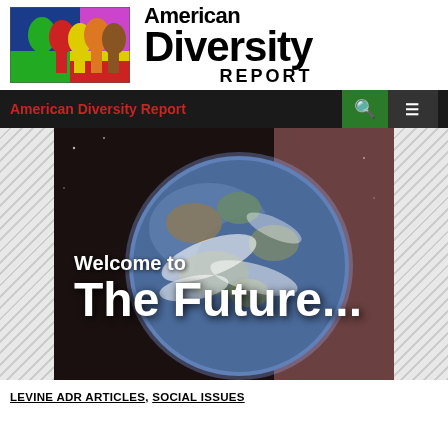[Figure (logo): American Diversity Report logo with colorful silhouette faces on blue/green/red/yellow/magenta background, alongside bold text 'American Diversity Report']
American Diversity Report
[Figure (photo): Photo of Earth from space with text overlay 'Welcome to The Future...' on dark space background]
LEVINE ADR ARTICLES, SOCIAL ISSUES